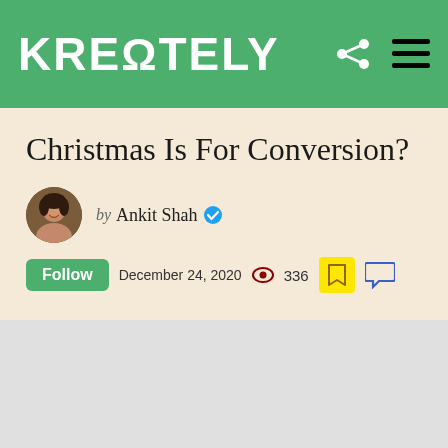KREΩTELY
Christmas Is For Conversion?
by Ankit Shah
Follow  December 24, 2020  336